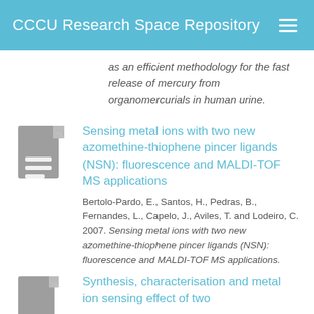CCCU Research Space Repository
as an efficient methodology for the fast release of mercury from organomercurials in human urine.
Sensing metal ions with two new azomethine-thiophene pincer ligands (NSN): fluorescence and MALDI-TOF MS applications
Bertolo-Pardo, E., Santos, H., Pedras, B., Fernandes, L., Capelo, J., Aviles, T. and Lodeiro, C. 2007. Sensing metal ions with two new azomethine-thiophene pincer ligands (NSN): fluorescence and MALDI-TOF MS applications.
Synthesis, characterisation and metal ion sensing effect of two...